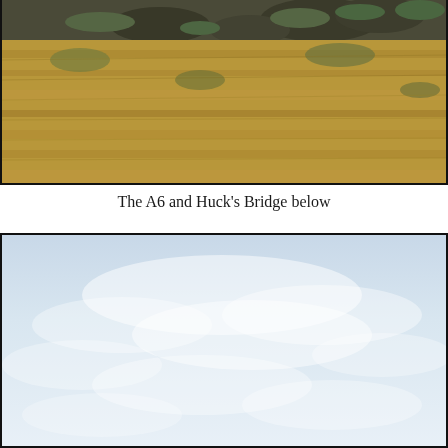[Figure (photo): Partial view of a hillside with dry golden-brown grass and some rocks with green moss at the top, cropped at the top of the page]
The A6 and Huck's Bridge below
[Figure (photo): Pale blue sky with soft white clouds, occupying the lower portion of the page, bordered by a thin black frame]